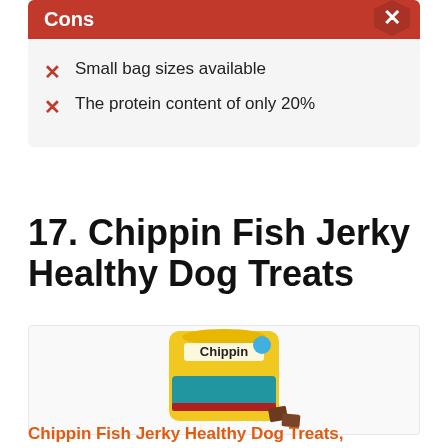Cons
Small bag sizes available
The protein content of only 20%
17. Chippin Fish Jerky Healthy Dog Treats
[Figure (photo): Yellow bag of Chippin brand dog training treats with small jerky pieces in front]
Chippin Fish Jerky Healthy Dog Treats,